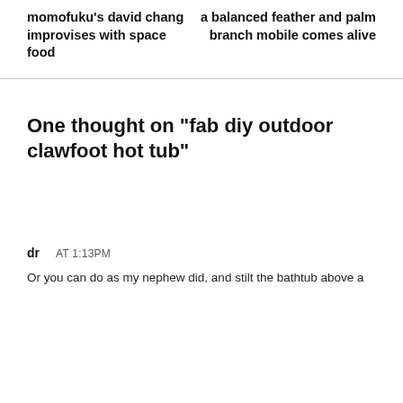momofuku's david chang improvises with space food
a balanced feather and palm branch mobile comes alive
One thought on “fab diy outdoor clawfoot hot tub”
dr  AT 1:13PM
Or you can do as my nephew did, and stilt the bathtub above a